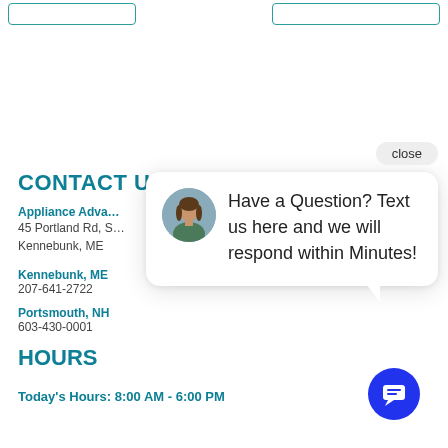[Figure (screenshot): Two teal-outlined button elements at the top of the page]
CONTACT US
Appliance Adva[nce]
45 Portland Rd, S[uite ...]
Kennebunk, ME
Kennebunk, ME
207-641-2722
Portsmouth, NH
603-430-0001
HOURS
Today's Hours: 8:00 AM - 6:00 PM
[Figure (screenshot): Chat popup overlay with avatar of a woman, close button, and text: Have a Question? Text us here and we will respond within Minutes!]
[Figure (screenshot): Blue circular chat FAB button with message icon]